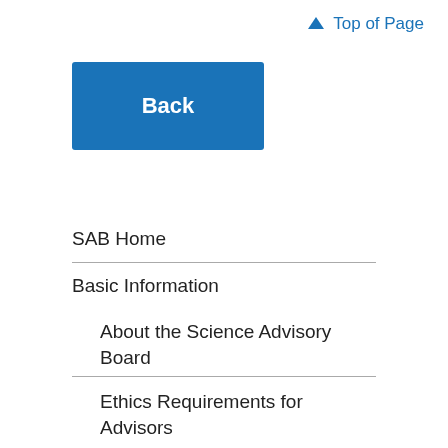↑ Top of Page
Back
SAB Home
Basic Information
About the Science Advisory Board
Ethics Requirements for Advisors